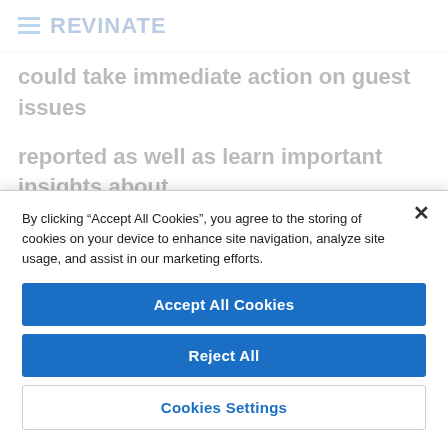REVINATE
could take immediate action on guest issues reported as well as learn important insights about our guests."
To ensure that the hotel captured a high volume of
By clicking “Accept All Cookies”, you agree to the storing of cookies on your device to enhance site navigation, analyze site usage, and assist in our marketing efforts.
Accept All Cookies
Reject All
Cookies Settings